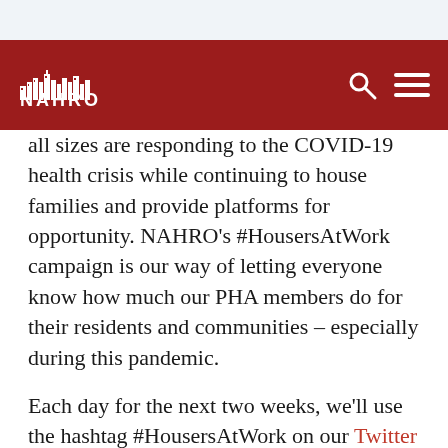NAHRO navigation bar with logo and search/menu icons
all sizes are responding to the COVID-19 health crisis while continuing to house families and provide platforms for opportunity. NAHRO's #HousersAtWork campaign is our way of letting everyone know how much our PHA members do for their residents and communities – especially during this pandemic.
Each day for the next two weeks, we'll use the hashtag #HousersAtWork on our Twitter and Facebook accounts to amplify stories about the good work our members have done, are doing, and continue to do in this unprecedented time. We'll also share these stories in our email